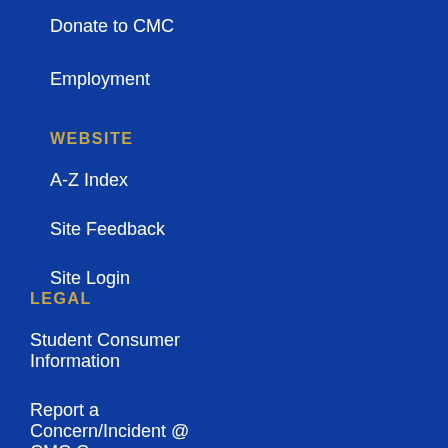Donate to CMC
Employment
WEBSITE
A-Z Index
Site Feedback
Site Login
LEGAL
Student Consumer Information
Report a Concern/Incident @ CMC Cares